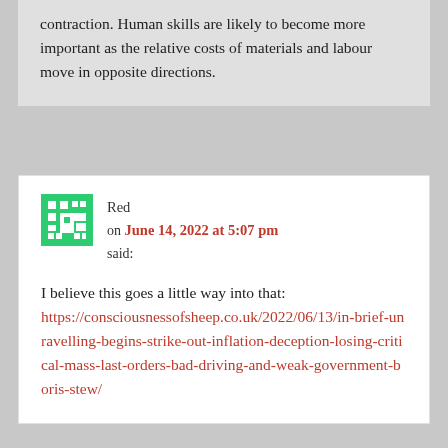contraction. Human skills are likely to become more important as the relative costs of materials and labour move in opposite directions.
Red on June 14, 2022 at 5:07 pm said:
I believe this goes a little way into that: https://consciousnessofsheep.co.uk/2022/06/13/in-brief-unravelling-begins-strike-out-inflation-deception-losing-critical-mass-last-orders-bad-driving-and-weak-government-boris-stew/